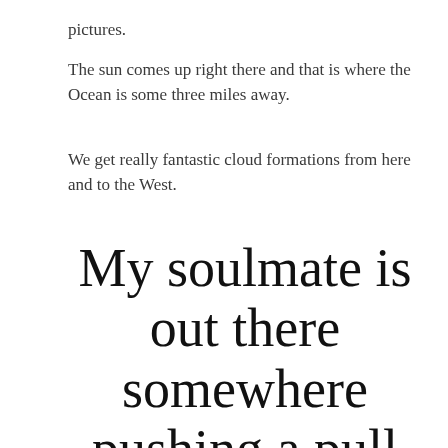pictures.
The sun comes up right there and that is where the Ocean is some three miles away.
We get really fantastic cloud formations from here and to the West.
My soulmate is out there somewhere pushing a pull door. I just know it.